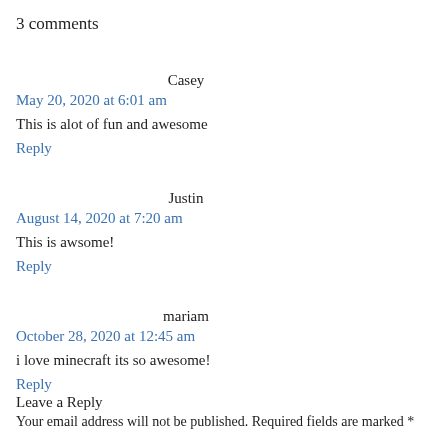3 comments
Casey
May 20, 2020 at 6:01 am
This is alot of fun and awesome
Reply
Justin
August 14, 2020 at 7:20 am
This is awsome!
Reply
mariam
October 28, 2020 at 12:45 am
i love minecraft its so awesome!
Reply
Leave a Reply
Your email address will not be published. Required fields are marked *